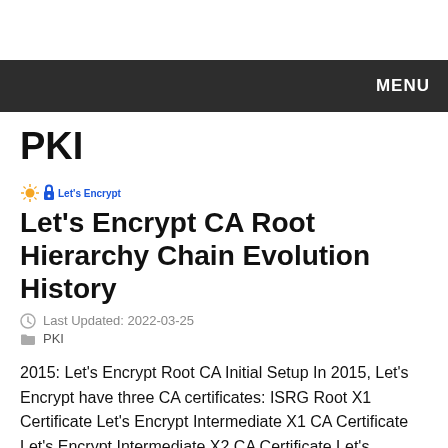MENU
PKI
Let's Encrypt CA Root Hierarchy Chain Evolution History
Last Updated: 2022-03-25
PKI
2015: Let’s Encrypt Root CA Initial Setup In 2015, Let’s Encrypt have three CA certificates: ISRG Root X1 Certificate Let’s Encrypt Intermediate X1 CA Certificate Let’s Encrypt Intermediate X2 CA Certificate Let’s Encrypt will issue certificates to subscribers from its